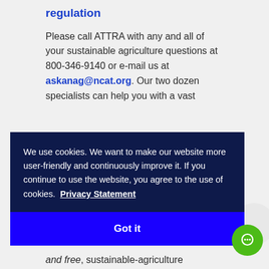regulation
Please call ATTRA with any and all of your sustainable agriculture questions at 800-346-9140 or e-mail us at askanag@ncat.org. Our two dozen specialists can help you with a vast
We use cookies. We want to make our website more user-friendly and continuously improve it. If you continue to use the website, you agree to the use of cookies. Privacy Statement
Got it
and free, sustainable-agriculture